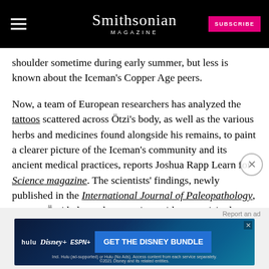Smithsonian MAGAZINE
shoulder sometime during early summer, but less is known about the Iceman's Copper Age peers.
Now, a team of European researchers has analyzed the tattoos scattered across Ötzi's body, as well as the various herbs and medicines found alongside his remains, to paint a clearer picture of the Iceman's community and its ancient medical practices, reports Joshua Rapp Learn for Science magazine. The scientists' findings, newly published in the International Journal of Paleopathology, suggest Ötzi belonged to a society with a surprisingly advanced health care system.
[Figure (screenshot): Disney Bundle advertisement banner with Hulu, Disney+, and ESPN+ logos and 'GET THE DISNEY BUNDLE' call to action button]